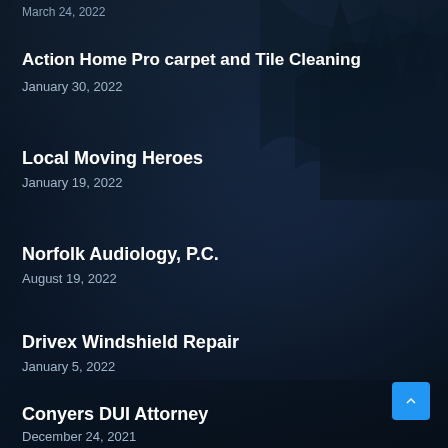March 24, 2022
Action Home Pro carpet and Tile Cleaning
January 30, 2022
Local Moving Heroes
January 19, 2022
Norfolk Audiology, P.C.
August 19, 2022
Drivex Windshield Repair
January 5, 2022
Conyers DUI Attorney
December 24, 2021